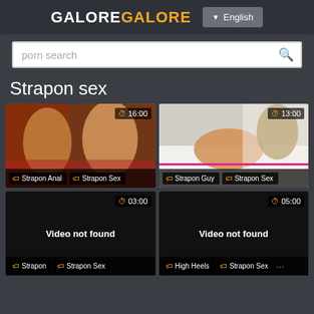GALOREGALORE | English
porn search
Strapon sex
[Figure (screenshot): Video thumbnail with two people, duration 16:00, tags: Strapon Anal, Strapon Sex]
[Figure (screenshot): Video thumbnail with two people on a couch, duration 13:00, tags: Strapon Guy, Strapon Sex]
[Figure (screenshot): Black placeholder - Video not found, duration 03:00, tags: Strapon, Strapon Sex]
[Figure (screenshot): Black placeholder - Video not found, duration 05:00, tags: High Heels, Strapon Sex]